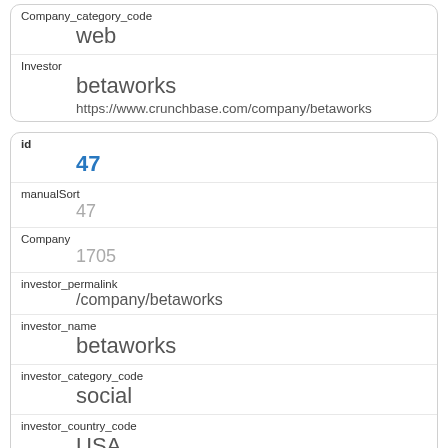| Company_category_code | web |
| Investor | betaworks
https://www.crunchbase.com/company/betaworks |
| id | 47 |
| manualSort | 47 |
| Company | 1705 |
| investor_permalink | /company/betaworks |
| investor_name | betaworks |
| investor_category_code | social |
| investor_country_code | USA |